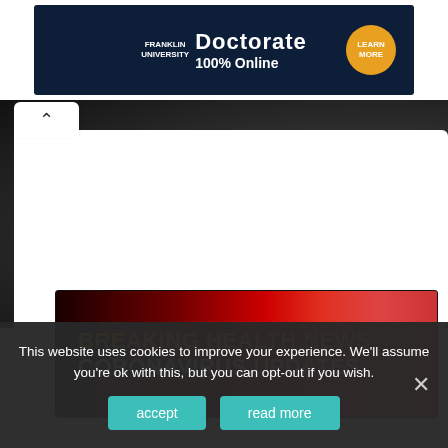[Figure (screenshot): Franklin University advertisement banner: dark navy background with 'FRANKLIN UNIVERSITY' logo on left, bold white text 'Doctorate 100% Online' in center, yellow circular button 'LEARN MORE' on right]
[Figure (screenshot): Breaking Health News - Coronavirus Updates banner with dark red gradient background and yellow/white text]
This website uses cookies to improve your experience. We'll assume you're ok with this, but you can opt-out if you wish.
accept   read more